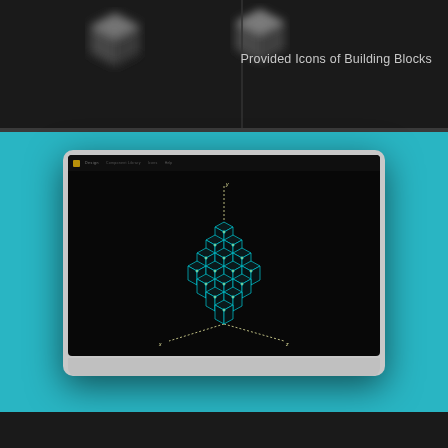[Figure (screenshot): Dark background with two blurry 3D cube/box icons at the top left area]
Provided Icons of Building Blocks
[Figure (screenshot): A tablet (Surface-style device) on a teal background showing a dark screen with an isometric 3D grid of cubes arranged in a hexagonal pattern, with X, Y, Z axis indicators shown as dotted lines]